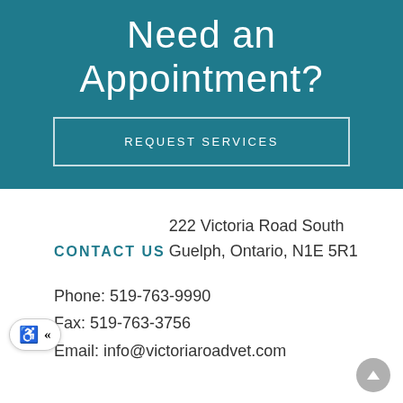Need an Appointment?
REQUEST SERVICES
CONTACT US
222 Victoria Road South
Guelph, Ontario, N1E 5R1
Phone: 519-763-9990
Fax: 519-763-3756
Email: info@victoriaroadvet.com